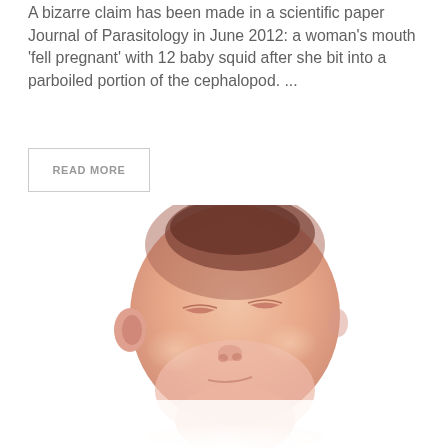A bizarre claim has been made in a scientific paper Journal of Parasitology in June 2012: a woman's mouth 'fell pregnant' with 12 baby squid after she bit into a parboiled portion of the cephalopod. ...
READ MORE
[Figure (illustration): Medical or anatomical illustration of a baby/infant head with eyes closed, rendered in soft pinkish tones with the head tilted back, fading into a white background at the bottom.]